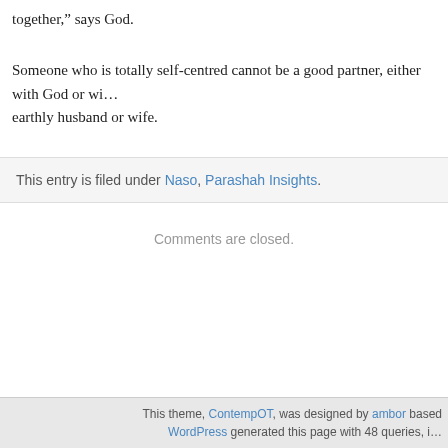together,” says God.
Someone who is totally self-centred cannot be a good partner, either with God or wi… earthly husband or wife.
This entry is filed under Naso, Parashah Insights.
Comments are closed.
This theme, ContempOT, was designed by ambor based … WordPress generated this page with 48 queries, i…